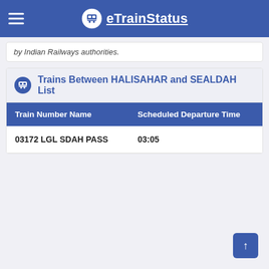eTrainStatus
by Indian Railways authorities.
Trains Between HALISAHAR and SEALDAH List
| Train Number Name | Scheduled Departure Time |
| --- | --- |
| 03172 LGL SDAH PASS | 03:05 |